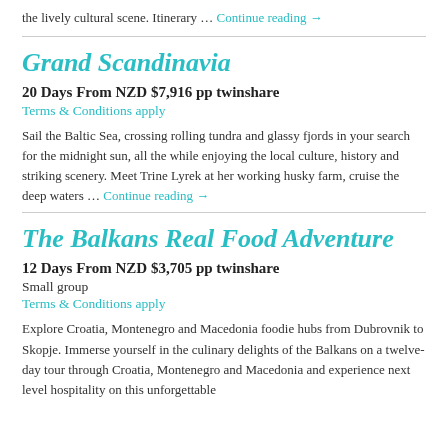the lively cultural scene. Itinerary … Continue reading →
Grand Scandinavia
20 Days From NZD $7,916 pp twinshare
Terms & Conditions apply
Sail the Baltic Sea, crossing rolling tundra and glassy fjords in your search for the midnight sun, all the while enjoying the local culture, history and striking scenery. Meet Trine Lyrek at her working husky farm, cruise the deep waters … Continue reading →
The Balkans Real Food Adventure
12 Days From NZD $3,705 pp twinshare
Small group
Terms & Conditions apply
Explore Croatia, Montenegro and Macedonia foodie hubs from Dubrovnik to Skopje. Immerse yourself in the culinary delights of the Balkans on a twelve-day tour through Croatia, Montenegro and Macedonia and experience next level hospitality on this unforgettable